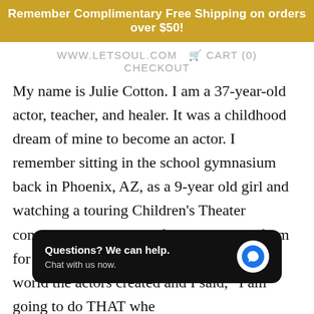Remember Complimentary Free Shipping on orders over $50!
WWW.LETSOUL.COM   CART (0)   CHECKOUT
My name is Julie Cotton. I am a 37-year-old actor, teacher, and healer. It was a childhood dream of mine to become an actor. I remember sitting in the school gymnasium back in Phoenix, AZ, as a 9-year old girl and watching a touring Children's Theater company by the name of Childsplay perform for our school. I was transported into the world the actors created and I said, “I am going to do THAT whe... When I was 21, I began to... mpany for 5 seasons bringing theater arts to another
[Figure (screenshot): Chat popup overlay with text 'Questions? We can help. Chat with us now.' and a blue chat bubble icon on a black rounded rectangle background.]